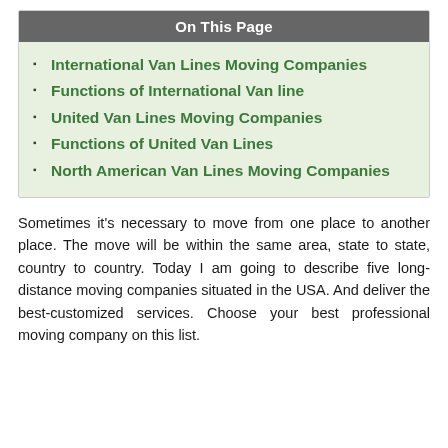On This Page
International Van Lines Moving Companies
Functions of International Van line
United Van Lines Moving Companies
Functions of United Van Lines
North American Van Lines Moving Companies
Sometimes it's necessary to move from one place to another place. The move will be within the same area, state to state, country to country. Today I am going to describe five long-distance moving companies situated in the USA. And deliver the best-customized services. Choose your best professional moving company on this list.